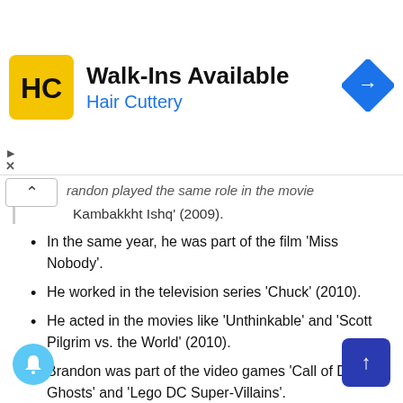[Figure (infographic): Hair Cuttery advertisement banner: Walk-Ins Available with Hair Cuttery logo (yellow background with HC letters) and a blue navigation/direction diamond icon on the right.]
…randon played the same role in the movie Kambakkht Ishq' (2009).
In the same year, he was part of the film 'Miss Nobody'.
He worked in the television series 'Chuck' (2010).
He acted in the movies like 'Unthinkable' and 'Scott Pilgrim vs. the World' (2010).
Brandon was part of the video games 'Call of Duty: Ghosts' and 'Lego DC Super-Villains'.
He appeared in short films like 'Cost of Living' and 'Number Nine' (2011).
He got the opportunity to work in the popular